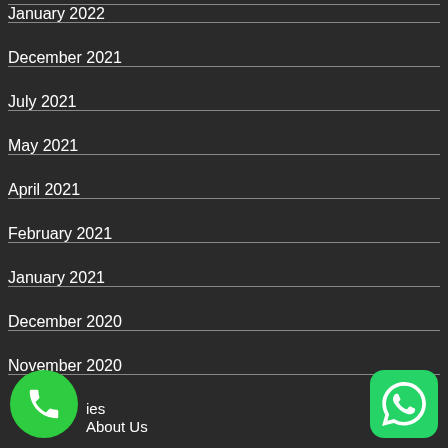January 2022
December 2021
July 2021
May 2021
April 2021
February 2021
January 2021
December 2020
November 2020
ies
About Us